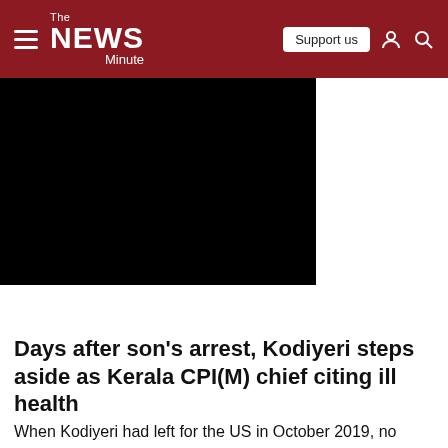The News Minute
[Figure (photo): Black image area, likely a photo of a person or event related to the article]
Days after son's arrest, Kodiyeri steps aside as Kerala CPI(M) chief citing ill health
When Kodiyeri had left for the US in October 2019, no other